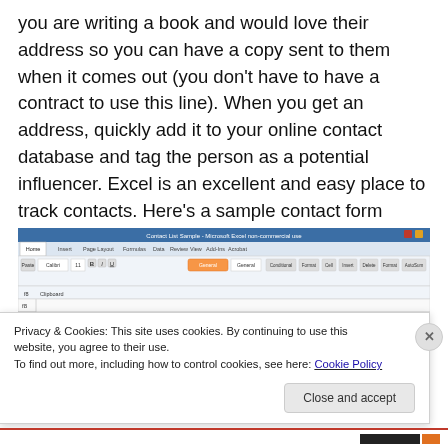you are writing a book and would love their address so you can have a copy sent to them when it comes out (you don't have to have a contract to use this line). When you get an address, quickly add it to your online contact database and tag the person as a potential influencer. Excel is an excellent and easy place to track contacts. Here's a sample contact form you're welcome to use.
[Figure (screenshot): Screenshot of Microsoft Excel showing a 'MASTER CONTACT LIST' spreadsheet with column headers: FIRST NAME, LAST NAME, COMPANY, TITLE or POSITION, ADDRESS, ADDRESS2, CITY, STATE, ZIP, FRIEND?, FAMILY?, and more. The Excel ribbon is visible at top with Home tab active.]
Privacy & Cookies: This site uses cookies. By continuing to use this website, you agree to their use.
To find out more, including how to control cookies, see here: Cookie Policy
Close and accept